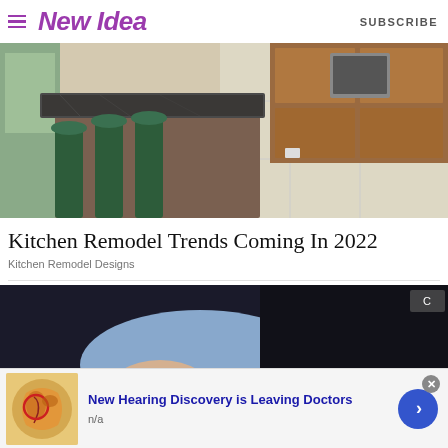New Idea | SUBSCRIBE
[Figure (photo): Kitchen with granite island countertop, dark green bar stools, wood cabinets, stainless steel appliances, and light tile floor]
Kitchen Remodel Trends Coming In 2022
Kitchen Remodel Designs
[Figure (photo): Close-up of a person's hand resting on a white surface, wearing a blue shirt sleeve and dark jacket]
[Figure (infographic): Advertisement: New Hearing Discovery is Leaving Doctors. Shows ear anatomy image with red circle highlight. n/a. Blue arrow button on right. Close X button top right.]